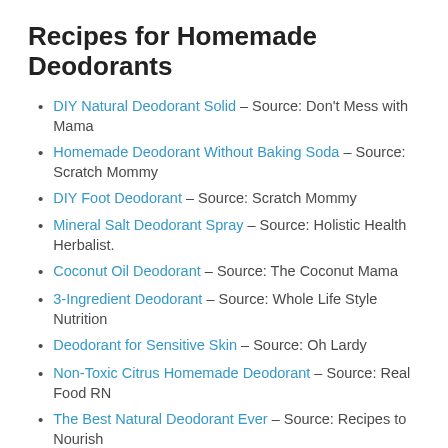Recipes for Homemade Deodorants
DIY Natural Deodorant Solid – Source: Don't Mess with Mama
Homemade Deodorant Without Baking Soda – Source: Scratch Mommy
DIY Foot Deodorant – Source: Scratch Mommy
Mineral Salt Deodorant Spray – Source: Holistic Health Herbalist.
Coconut Oil Deodorant – Source: The Coconut Mama
3-Ingredient Deodorant – Source: Whole Life Style Nutrition
Deodorant for Sensitive Skin – Source: Oh Lardy
Non-Toxic Citrus Homemade Deodorant – Source: Real Food RN
The Best Natural Deodorant Ever – Source: Recipes to Nourish
Homemade Deodorant with Lavender and Lemongrass – Source: Delicious Obsessions